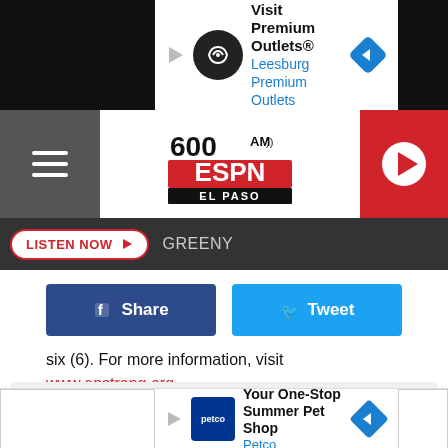[Figure (screenshot): Top advertisement banner: Visit Premium Outlets® / Leesburg Premium Outlets with logo and navigation arrow on black background]
[Figure (logo): 600 AM ESPN El Paso radio station logo in header bar with hamburger menu and red play button]
LISTEN NOW ▶   GREENY
Share   Tweet
- · six (6). For more information, visit www.epstrong.org.
[Figure (screenshot): 600 ESPN El Paso mobile app logo with GET OUR FREE MOBILE APP red button]
SIGNUP FOR THE 600 ESPN EL PASO NEWSLETTER
[Figure (screenshot): Bottom advertisement: Your One-Stop Summer Pet Shop / Petco with Petco logo and navigation arrow]